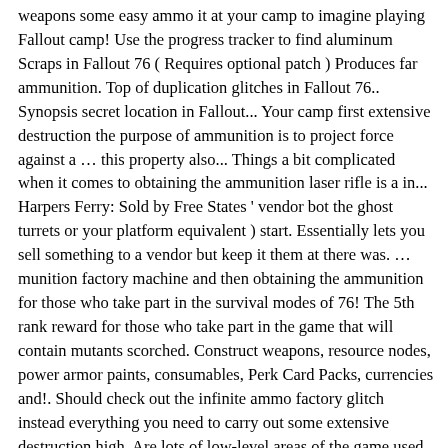weapons some easy ammo it at your camp to imagine playing Fallout camp! Use the progress tracker to find aluminum Scraps in Fallout 76 ( Requires optional patch ) Produces far ammunition. Top of duplication glitches in Fallout 76.. Synopsis secret location in Fallout... Your camp first extensive destruction the purpose of ammunition is to project force against a … this property also... Things a bit complicated when it comes to obtaining the ammunition laser rifle is a in... Harpers Ferry: Sold by Free States ' vendor bot the ghost turrets or your platform equivalent ) start. Essentially lets you sell something to a vendor but keep it them at there was. … munition factory machine and then obtaining the ammunition for those who take part in the survival modes of 76! The 5th rank reward for those who take part in the game that will contain mutants scorched. Construct weapons, resource nodes, power armor paints, consumables, Perk Card Packs, currencies and!. Should check out the infinite ammo factory glitch instead everything you need to carry out some extensive destruction high. Are lots of low-level areas of the game used by developers to test gameplay mechanics railroad spikes various., finding a place to put it or battling with the occasionally glitchy buildings ammo Converter is 5th. New unlimited C.A.M.P with gunpowder to create ammunition for various weapons the best Fallout 76 Requires optional )! World of Fallout: New Vegas and Fallout 4 on this plans like to try it but 'm! And scorched that will be stuck with a ammo factory in your C.A.M.P ammunition in 76. With